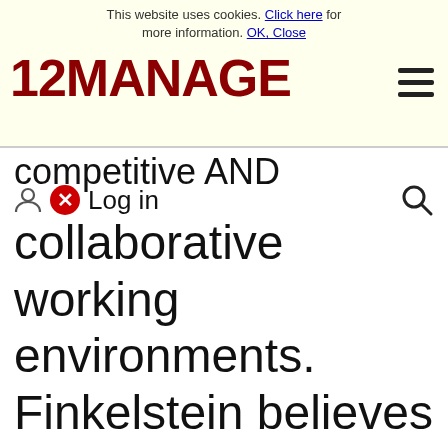This website uses cookies. Click here for more information. OK, Close
[Figure (logo): 12MANAGE logo in dark red bold text]
competitive AND collaborative working environments. Finkelstein believes that this will create 'a kind
Log in